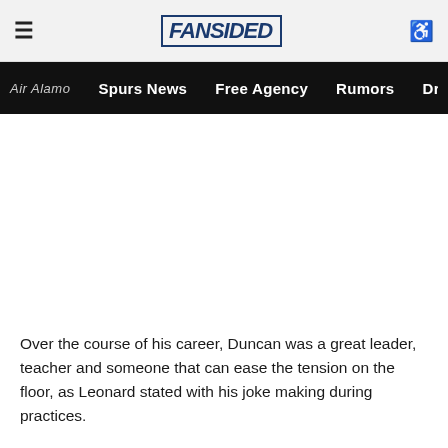FanSided — Spurs News | Free Agency | Rumors | Draft | His
Over the course of his career, Duncan was a great leader, teacher and someone that can ease the tension on the floor, as Leonard stated with his joke making during practices.
He is the type of player that any team would dream of wanting. He